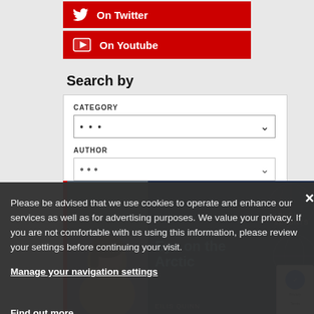[Figure (screenshot): Red Twitter social media button with Twitter bird icon and text 'On Twitter']
[Figure (screenshot): Red YouTube social media button with YouTube play button icon and text 'On Youtube']
Search by
[Figure (screenshot): Search form with CATEGORY and AUTHOR dropdown fields]
Please be advised that we use cookies to operate and enhance our services as well as for advertising purposes. We value your privacy. If you are not comfortable with us using this information, please review your settings before continuing your visit.
Manage your navigation settings
Find out more